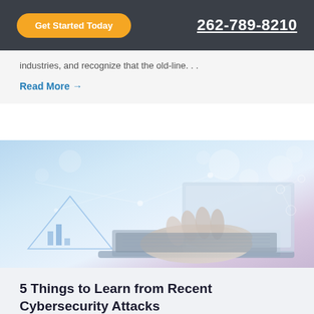Get Started Today  262-789-8210
industries, and recognize that the old-line….
Read More →
[Figure (photo): Person typing on a laptop with digital cybersecurity overlay graphics including data charts and network nodes in blue tones]
5 Things to Learn from Recent Cybersecurity Attacks
By Scott Hirschfeld | Jul 9, 2021 | Best